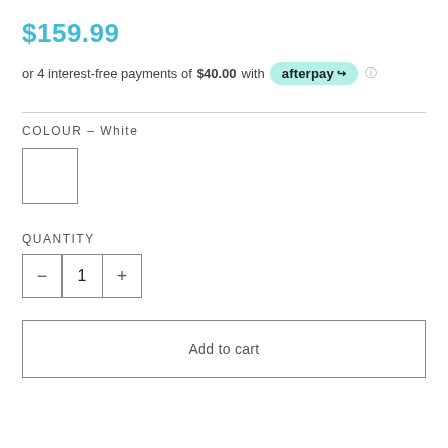$159.99
or 4 interest-free payments of $40.00 with afterpay
COLOUR – White
[Figure (other): White colour swatch square with border]
QUANTITY
[Figure (other): Quantity stepper control with minus button, value 1, and plus button]
Add to cart